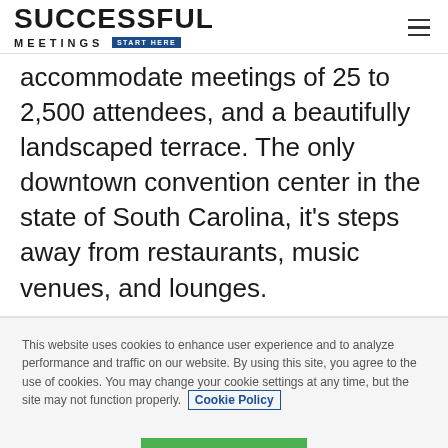SUCCESSFUL MEETINGS START HERE
accommodate meetings of 25 to 2,500 attendees, and a beautifully landscaped terrace. The only downtown convention center in the state of South Carolina, it's steps away from restaurants, music venues, and lounges.
This website uses cookies to enhance user experience and to analyze performance and traffic on our website. By using this site, you agree to the use of cookies. You may change your cookie settings at any time, but the site may not function properly. Cookie Policy
Close